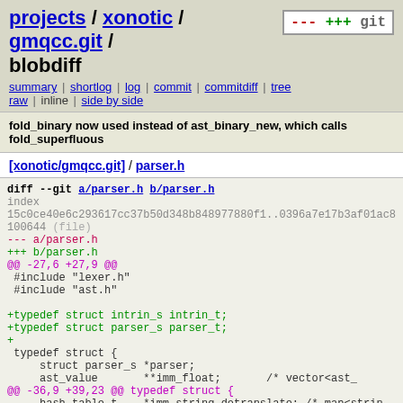projects / xonotic / gmqcc.git / blobdiff
summary | shortlog | log | commit | commitdiff | tree
raw | inline | side by side
fold_binary now used instead of ast_binary_new, which calls fold_superfluous
[xonotic/gmqcc.git] / parser.h
diff --git a/parser.h b/parser.h
index 15c0ce40e6c293617cc37b50d348b848977880f1..0396a7e17b3af01ac8 100644 (file)
--- a/parser.h
+++ b/parser.h
@@ -27,6 +27,9 @@
 #include "lexer.h"
 #include "ast.h"

+typedef struct intrin_s intrin_t;
+typedef struct parser_s parser_t;
++
 typedef struct {
     struct parser_s *parser;
     ast_value       **imm_float;    /* vector<ast_
@@ -36,9 +39,23 @@ typedef struct {
     hash_table_t    *imm_string_dotranslate; /* map<strin